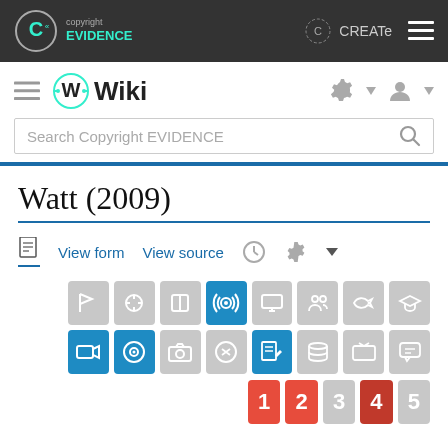[Figure (screenshot): Copyright EVIDENCE website header with logo on left and CREATe logo with hamburger menu on right, dark background]
[Figure (screenshot): Wiki navigation toolbar with hamburger menu, Wiki logo, gear icon and user icon]
[Figure (screenshot): Search bar with text 'Search Copyright EVIDENCE' and magnifying glass icon]
Watt (2009)
[Figure (screenshot): Action bar with document icon, View form link, View source link, history clock icon, and settings gear icon]
[Figure (screenshot): Two rows of category icon boxes, some highlighted in blue. Row 1: 8 icons including active blue radio/broadcast icon. Row 2: 8 icons including active blue film, disc, and document icons.]
[Figure (screenshot): Row of numbered boxes 1-5, with 1, 2, 4 highlighted in red/dark-red and 3, 5 in gray]